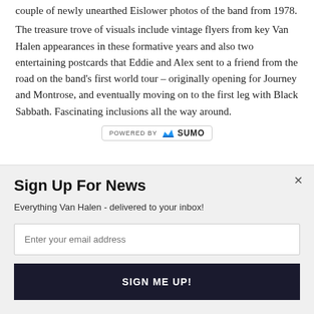couple of newly unearthed Eislower photos of the band from 1978.
The treasure trove of visuals include vintage flyers from key Van Halen appearances in these formative years and also two entertaining postcards that Eddie and Alex sent to a friend from the road on the band's first world tour – originally opening for Journey and Montrose, and eventually moving on to the first leg with Black Sabbath. Fascinating inclusions all the way around.
[Figure (logo): POWERED BY SUMO badge with crown icon]
Sign Up For News
Everything Van Halen - delivered to your inbox!